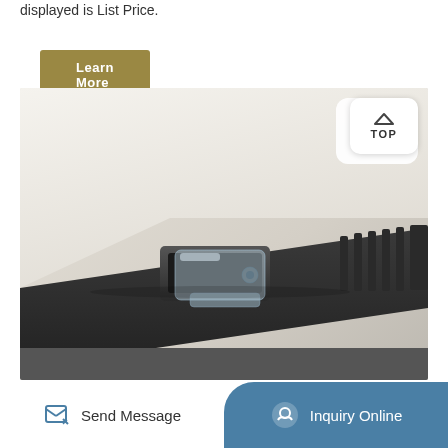displayed is List Price.
Learn More
[Figure (photo): Close-up photo of a white device with a black base showing a latch or connector mechanism with a transparent plastic clip on a dark rail or track. A white rounded 'TOP' button with an upward arrow is visible in the upper right area of the image.]
Send Message
Inquiry Online